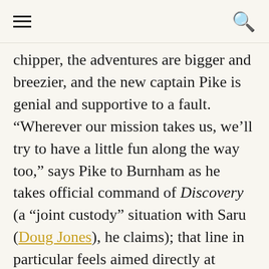[hamburger menu] [search icon]
chipper, the adventures are bigger and breezier, and the new captain Pike is genial and supportive to a fault. “Wherever our mission takes us, we’ll try to have a little fun along the way too,” says Pike to Burnham as he takes official command of Discovery (a “joint custody” situation with Saru (Doug Jones), he claims); that line in particular feels aimed directly at worried Trek fans, an assurance that they’re done being Dour Trek. There are even a few gags that wouldn’t be out of place in The Orville – Ensign Sylvia Tilly (Mary Wiseman) yammers adorkably at everyone and everything under the sun even